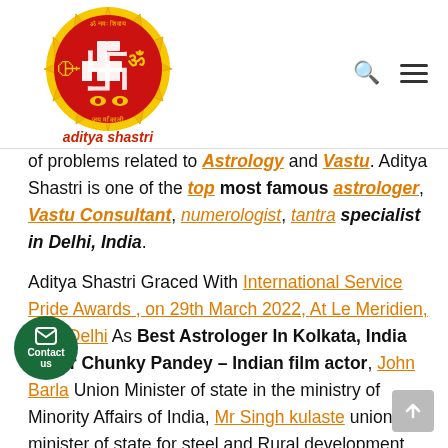[Figure (logo): Aditya Shastri circular logo with red background, swastika symbol, sun rays in yellow/orange, Hindu religious symbols, text 'aditya shastri' in red/orange below]
of problems related to Astrology and Vastu. Aditya Shastri is one of the top most famous astrologer, Vastu Consultant, numerologist, tantra specialist in Delhi, India. Aditya Shastri Graced With International Service Pride Awards , on 29th March 2022, At Le Meridien, New Delhi As Best Astrologer In Kolkata, India By Mr Chunky Pandey – Indian film actor, John Barla Union Minister of state in the ministry of Minority Affairs of India, Mr Singh kulaste union minister of state for steel and Rural development, Mr Ramdas Athawale union